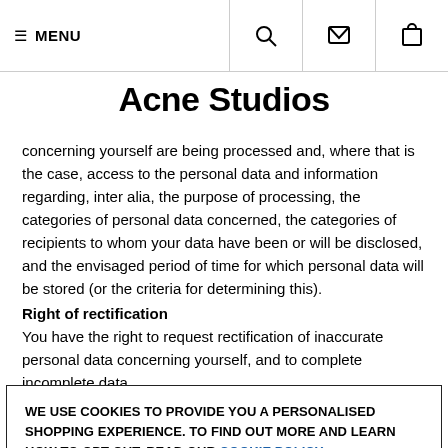≡ MENU
Acne Studios
concerning yourself are being processed and, where that is the case, access to the personal data and information regarding, inter alia, the purpose of processing, the categories of personal data concerned, the categories of recipients to whom your data have been or will be disclosed, and the envisaged period of time for which personal data will be stored (or the criteria for determining this).
Right of rectification
You have the right to request rectification of inaccurate personal data concerning yourself, and to complete incomplete data.
WE USE COOKIES TO PROVIDE YOU A PERSONALISED SHOPPING EXPERIENCE. TO FIND OUT MORE AND LEARN HOW TO OPT OUT, READ OUR COOKIE POLICY
X  CLOSE & ACCEPT